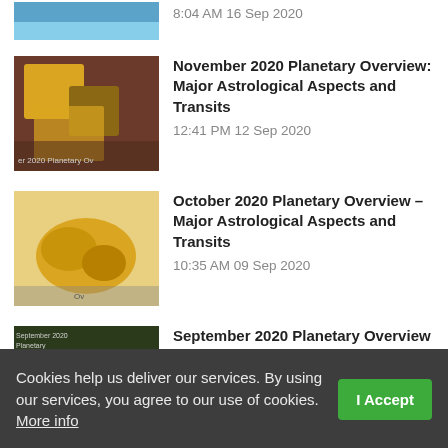8:04 AM 16 Sep 2020
November 2020 Planetary Overview: Major Astrological Aspects and Transits
12:41 PM 12 Sep 2020
October 2020 Planetary Overview – Major Astrological Aspects and Transits
10:35 AM 09 Sep 2020
September 2020 Planetary Overview – Major Astrological Aspects and Transits
8:25 PM 01 Jun 2020
August 2020 Planetary Overview – Major Astrological Aspects and
Cookies help us deliver our services. By using our services, you agree to our use of cookies. More info